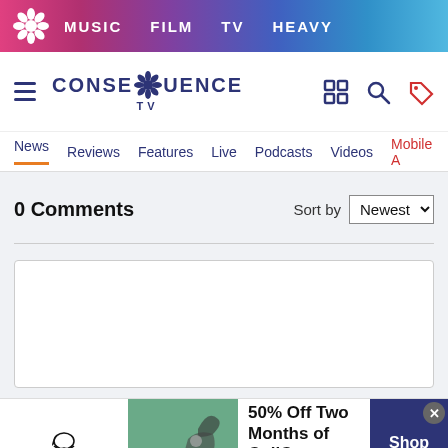MUSIC  FILM  TV  HEAVY
[Figure (logo): Consequence TV logo with gear/flower icon, hamburger menu, search and tag icons]
News  Reviews  Features  Live  Podcasts  Videos  Mobile A
0 Comments   Sort by Newest
Add a comment...
Facebook Comments Plugin
[Figure (photo): SmartPak advertisement: 50% Off Two Months of ColiCare, ColiCare Eligible Supplements, CODE: COLICARE10, Shop Now]